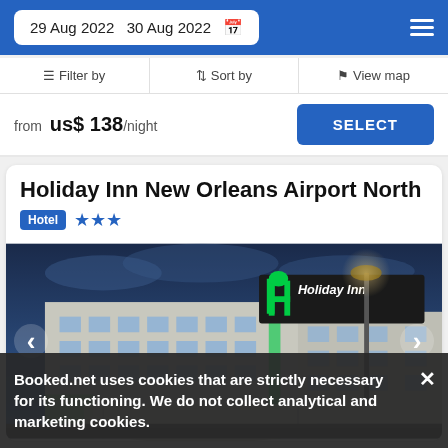29 Aug 2022  30 Aug 2022
Filter by  Sort by  View map
from us$ 138/night  SELECT
Holiday Inn New Orleans Airport North
Hotel ★★★
[Figure (photo): Night exterior photo of Holiday Inn New Orleans Airport North showing the illuminated green Holiday Inn sign, hotel facade with multiple floors and windows, green accent lighting, and a covered entrance canopy.]
Booked.net uses cookies that are strictly necessary for its functioning. We do not collect analytical and marketing cookies.